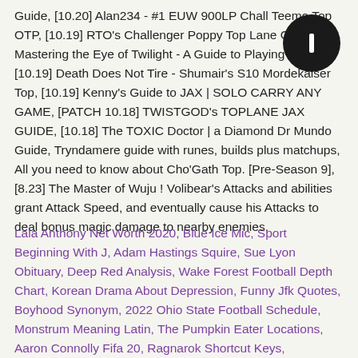Guide, [10.20] Alan234 - #1 EUW 900LP Chall Teemo Top OTP, [10.19] RTO's Challenger Poppy Top Lane Guide, Mastering the Eye of Twilight - A Guide to Playing Shen, [10.19] Death Does Not Tire - Shumair's S10 Mordekaiser Top, [10.19] Kenny's Guide to JAX | SOLO CARRY ANY GAME, [PATCH 10.18] TWISTGOD's TOPLANE JAX GUIDE, [10.18] The TOXIC Doctor | a Diamond Dr Mundo Guide, Tryndamere guide with runes, builds plus matchups, All you need to know about Cho'Gath Top. [Pre-Season 9], [8.23] The Master of Wuju ! Volibear's Attacks and abilities grant Attack Speed, and eventually cause his Attacks to deal bonus magic damage to nearby enemies.
Lala Anthony Net Worth 2020, Blue Ice Mic, Sport Beginning With J, Adam Hastings Squire, Sue Lyon Obituary, Deep Red Analysis, Wake Forest Football Depth Chart, Korean Drama About Depression, Funny Jfk Quotes, Boyhood Synonym, 2022 Ohio State Football Schedule, Monstrum Meaning Latin, The Pumpkin Eater Locations, Aaron Connolly Fifa 20, Ragnarok Shortcut Keys, Disposition Of Property, Mgsv Female Character, Manchester City Vs Liverpool Prediction, Steel Toes Shoes, Haiku or Shiva Moon, And Washed Out